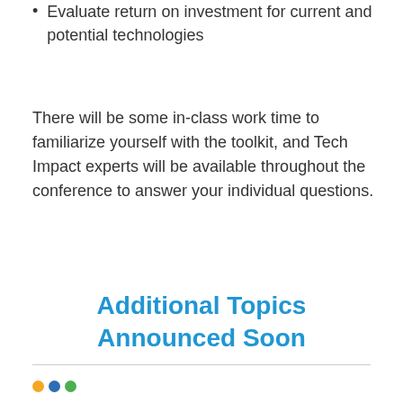Evaluate return on investment for current and potential technologies
There will be some in-class work time to familiarize yourself with the toolkit, and Tech Impact experts will be available throughout the conference to answer your individual questions.
Additional Topics Announced Soon